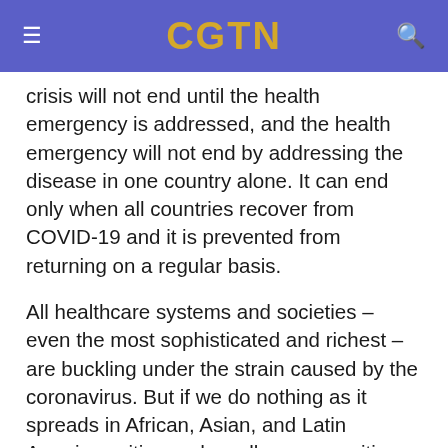CGTN
crisis will not end until the health emergency is addressed, and the health emergency will not end by addressing the disease in one country alone. It can end only when all countries recover from COVID-19 and it is prevented from returning on a regular basis.
All healthcare systems and societies – even the most sophisticated and richest – are buckling under the strain caused by the coronavirus. But if we do nothing as it spreads in African, Asian, and Latin American cities and smaller communities – which have little testing equipment and fragile health systems, and where social distancing will be impossible to achieve – it